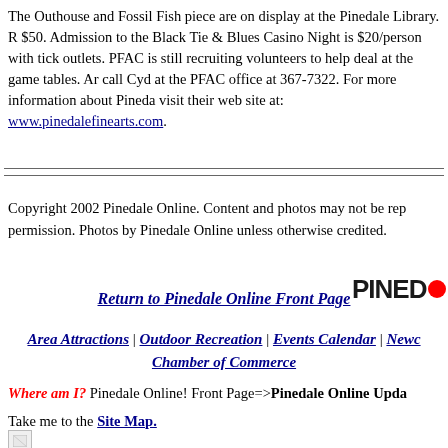The Outhouse and Fossil Fish piece are on display at the Pinedale Library. R $50. Admission to the Black Tie & Blues Casino Night is $20/person with tick outlets. PFAC is still recruiting volunteers to help deal at the game tables. A call Cyd at the PFAC office at 367-7322. For more information about Pineda visit their web site at: www.pinedalefinearts.com.
Copyright 2002 Pinedale Online. Content and photos may not be rep permission. Photos by Pinedale Online unless otherwise credited.
Return to Pinedale Online Front Page
Area Attractions | Outdoor Recreation | Events Calendar | Newc Chamber of Commerce
Where am I? Pinedale Online! Front Page=>Pinedale Online Upda
Take me to the Site Map.